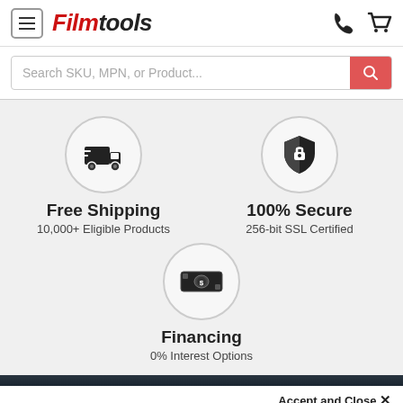Filmtools
Search SKU, MPN, or Product...
[Figure (infographic): Free Shipping icon: delivery truck in a circle]
Free Shipping
10,000+ Eligible Products
[Figure (infographic): 100% Secure icon: shield in a circle]
100% Secure
256-bit SSL Certified
[Figure (infographic): Financing icon: money/cash in a circle]
Financing
0% Interest Options
Accept and Close ✕
Your browser settings do not allow cross-site tracking for advertising. Click on this page to allow AdRoll to use cross-site tracking to tailor ads to you. Learn more or opt out of this AdRoll tracking by clicking here. This message only appears once.